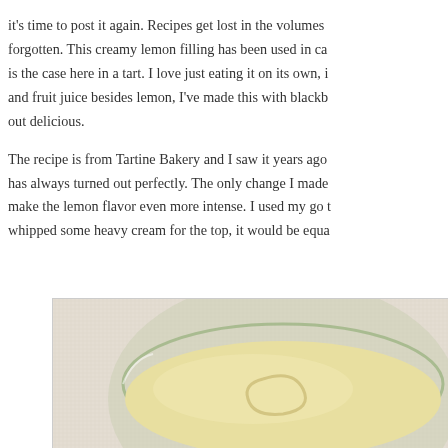I have posted this recipe and several variations multiple times but it's time to post it again. Recipes get lost in the volumes and get forgotten. This creamy lemon filling has been used in cakes and as is the case here in a tart. I love just eating it on its own, it and fruit juice besides lemon, I've made this with blackb out delicious.
The recipe is from Tartine Bakery and I saw it years ago has always turned out perfectly. The only change I made make the lemon flavor even more intense. I used my go t whipped some heavy cream for the top, it would be equa
[Figure (photo): A glass jar or bowl filled with creamy pale yellow lemon curd, photographed from above on a white linen fabric background. The curd has a smooth, glossy surface with a swirl.]